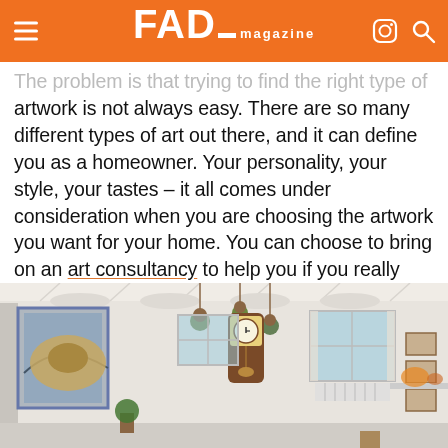FAD magazine
The problem is that trying to find the right type of artwork is not always easy. There are so many different types of art out there, and it can define you as a homeowner. Your personality, your style, your tastes – it all comes under consideration when you are choosing the artwork you want for your home. You can choose to bring on an art consultancy to help you if you really can't decide, but the thing to remember is that this is an investment. No matter how you come to choose a piece of artwork, make sure you're spending your money on something that you actually like! So, let's check out five tips for choosing the right artwork for your home.
[Figure (photo): Interior room with white vaulted ceiling, hanging plants, framed artwork, a pendulum wall clock, small windows, and decorative items on a shelf.]